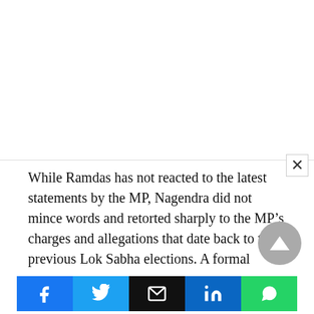While Ramdas has not reacted to the latest statements by the MP, Nagendra did not mince words and retorted sharply to the MP's charges and allegations that date back to the previous Lok Sabha elections. A formal complaint has already been lodged with the BJP State leadership in this regard and Chief Minister Basavaraj Bommai has offered to mediate between the warring parties over a people-friendly project.
The bone of contention (available for public